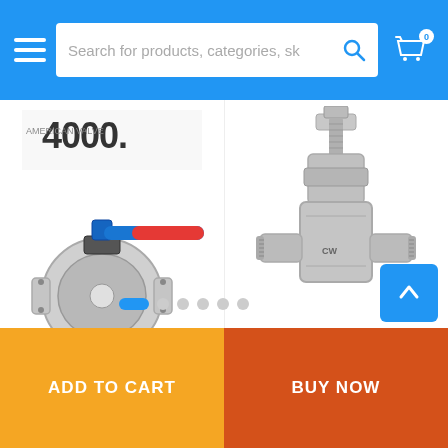Search for products, categories, sk
[Figure (illustration): American 4000D DI Flanged Ball Valve product image with brand logo]
AMERICAN 4000D DI FLANGED BALL ...
3"#4000-D AMERICAN DUC...
$681.20
[Figure (photo): F/S Threaded OS&Y Gate Valve product photo, stainless steel]
F/S THREADED OS&Y GATE VALVE, O...
1" F/S 800# THREADED OS&...
$119.25
ADD TO CART | BUY NOW